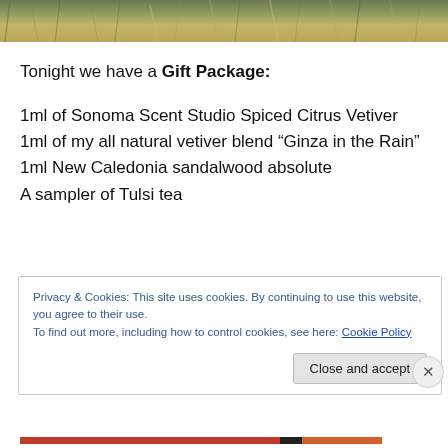[Figure (photo): Photograph of grass and dry vegetation, cropped strip at top of page]
Tonight we have a Gift Package:
1ml of Sonoma Scent Studio Spiced Citrus Vetiver
1ml of my all natural vetiver blend “Ginza in the Rain”
1ml New Caledonia sandalwood absolute
A sampler of Tulsi tea
Privacy & Cookies: This site uses cookies. By continuing to use this website, you agree to their use.
To find out more, including how to control cookies, see here: Cookie Policy
Close and accept